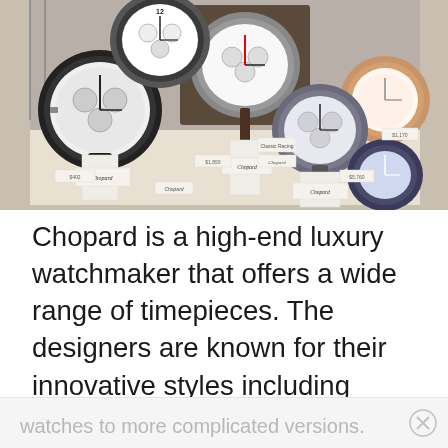[Figure (photo): A display of multiple Chopard luxury watches on white pedestals in a jewelry store showcase. Several watches of different styles are shown including chronographs and dress watches. Small Chopard branded signs and price tags are visible.]
Chopard is a high-end luxury watchmaker that offers a wide range of timepieces. The designers are known for their innovative styles including everything from simple functional watches to more complicated versions.